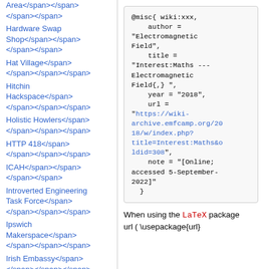Area</span></span>
</span></span>
Hardware Swap Shop</span></span>
</span></span>
Hat Village</span></span>
</span></span></span>
Hitchin Hackspace</span></span>
</span></span></span>
Holistic Howlers</span></span>
</span></span></span>
HTTP 418</span></span>
</span></span></span>
ICAH</span></span>
</span></span>
Introverted Engineering Task Force</span></span>
</span></span></span>
Ipswich Makerspace</span></span>
</span></span></span>
Irish Embassy</span></span>
</span></span></span>
lainchan</span></span>
</span></span></span>
LaserLlamas</span></span>
</span></span></span>
[Figure (screenshot): Code block showing BibTeX/misc citation for wiki:xxx with author Electromagnetic Field, title Interest:Maths --- Electromagnetic Field{,}, year 2018, url https://wiki-archive.emfcamp.org/2018/w/index.php?title=Interest:Maths&oldid=308, note [Online; accessed 5-September-2022]]
When using the LaTeX package url ( \usepackage{url}